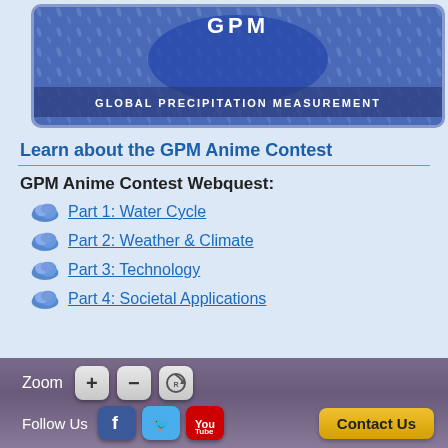[Figure (illustration): GPM Global Precipitation Measurement logo banner with blue background and rain texture]
Learn about the GPM Anime Contest
GPM Anime Contest Webquest:
Part 1: Water Cycle
Part 2: Weather & Climate
Part 3: Technology
Part 4: Societal Applications
Zoom + - R | Follow Us [Facebook] [Twitter] [YouTube] | Contact Us